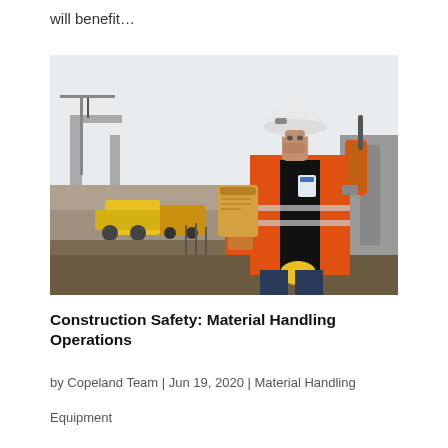will benefit…
[Figure (photo): A construction worker in an orange high-visibility vest and white hard hat, holding a clipboard and a pen, looking upward at a construction site with cranes and concrete structures in the background.]
Construction Safety: Material Handling Operations
by Copeland Team | Jun 19, 2020 | Material Handling
Equipment